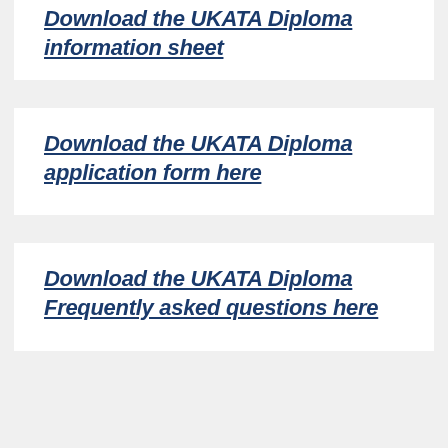Download the UKATA Diploma information sheet
Download the UKATA Diploma application form here
Download the UKATA Diploma Frequently asked questions here